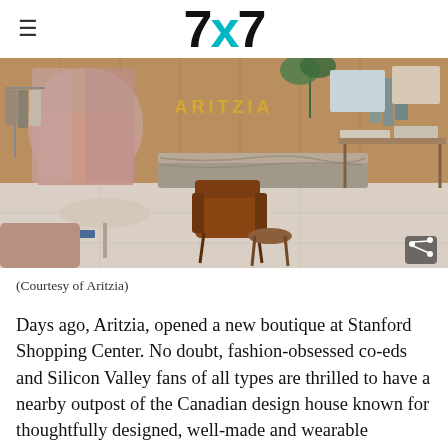7x7
[Figure (photo): Interior of Aritzia boutique at Stanford Shopping Center showing display chairs, clothing racks, marble counter, and warm wood paneling with the Aritzia sign visible]
(Courtesy of Aritzia)
Days ago, Aritzia, opened a new boutique at Stanford Shopping Center. No doubt, fashion-obsessed co-eds and Silicon Valley fans of all types are thrilled to have a nearby outpost of the Canadian design house known for thoughtfully designed, well-made and wearable women's clothing. The uniquely